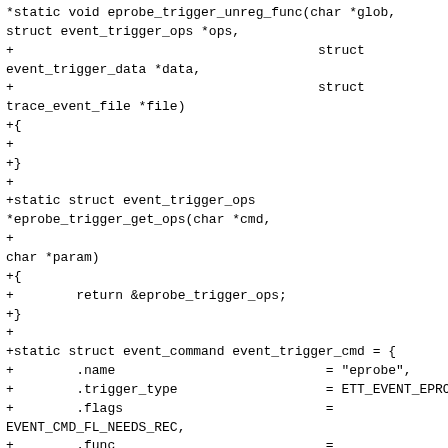*static void eprobe_trigger_unreg_func(char *glob,
struct event_trigger_ops *ops,
+                                       struct
event_trigger_data *data,
+                                       struct
trace_event_file *file)
+{
+
+}
+
+static struct event_trigger_ops
*eprobe_trigger_get_ops(char *cmd,
+
char *param)
+{
+        return &eprobe_trigger_ops;
+}
+
+static struct event_command event_trigger_cmd = {
+        .name                           = "eprobe",
+        .trigger_type                   = ETT_EVENT_EPROBE,
+        .flags                          =
EVENT_CMD_FL_NEEDS_REC,
+        .func                           =
eprobe_trigger_cmd_func,
+        .reg                            =
eprobe_trigger_reg_func,
+        .unreg                          =
eprobe_trigger_unreg_func,
+        .unreg_all                      = NULL,
+        .get_trigger_ops                =